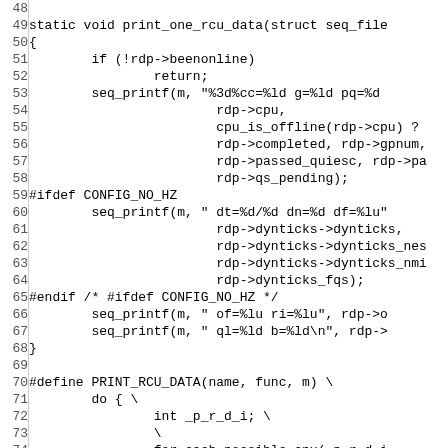[Figure (screenshot): Source code listing showing C/kernel code for print_one_rcu_data function and PRINT_RCU_DATA macro, lines 48-77, with line numbers on the left and code on the right separated by a vertical bar.]